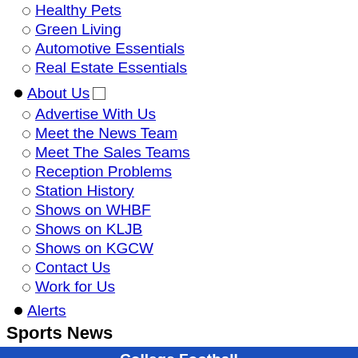Healthy Pets
Green Living
Automotive Essentials
Real Estate Essentials
About Us
Advertise With Us
Meet the News Team
Meet The Sales Teams
Reception Problems
Station History
Shows on WHBF
Shows on KLJB
Shows on KGCW
Contact Us
Work for Us
Alerts
Sports News
College Football
Home | Scoreboard | Standings | Teams | Leaders | Polls
| Punts | Average | Yds |
| --- | --- | --- |